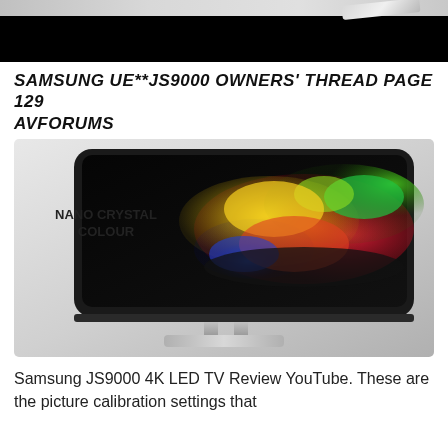[Figure (photo): Top portion of a Samsung curved TV product image, showing dark background with silver stand element]
SAMSUNG UE**JS9000 OWNERS' THREAD PAGE 129 AVFORUMS
[Figure (photo): Samsung curved 4K LED TV with colorful nano crystal colour powder explosion display on screen. Text on left reads 'NANO CRYSTAL COLOUR'. TV has curved screen and silver stand.]
Samsung JS9000 4K LED TV Review YouTube. These are the picture calibration settings that